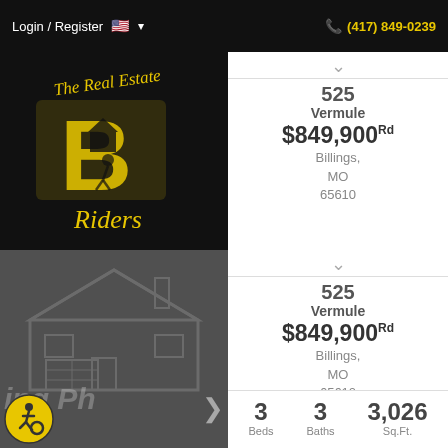Login / Register  🇺🇸 ▾    (417) 849-0239
[Figure (logo): The Real Estate Riders logo — yellow cursive text with a Missouri bear/rider silhouette on black background]
≡ MENU
[Figure (photo): Dark grey property photo placeholder with house silhouette watermark, navigation arrows, and accessibility icon]
525
Vermule
$849,900Rd
Billings, MO 65610
3 Beds  3 Baths  3,026 Sq.Ft.
2012  7  602260
Year Built  Days on Site  MLS
Custom built, log